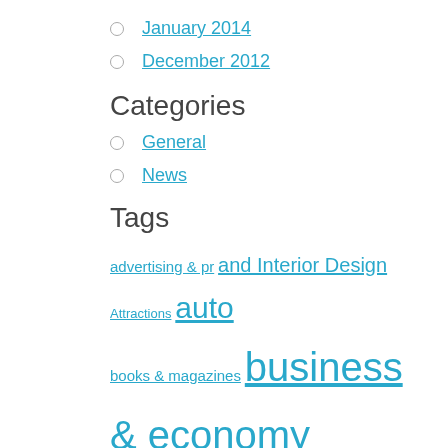January 2014
December 2012
Categories
General
News
Tags
advertising & pr and Interior Design Attractions auto books & magazines business & economy construction and repair construction of life education finances financial furniture geography government and politics hardware &